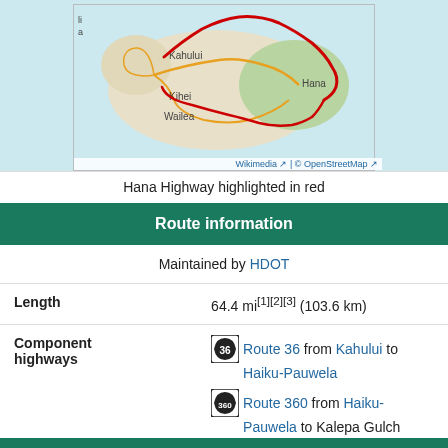[Figure (map): Map of Maui, Hawaii showing the Hana Highway route highlighted in red along the northern and eastern coastline, with labels for Kahului, Kihei, Wailea, and Hana.]
Hana Highway highlighted in red
Route information
| Maintained by | HDOT |
| Length | 64.4 mi[1][2][3] (103.6 km) |
| Component highways | Route 36 from Kahului to Haiku-Pauwela
Route 360 from Haiku-Pauwela to Kalepa Gulch |